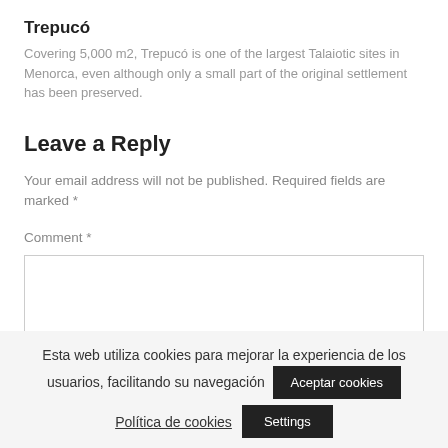Trepucó
Covering 5,000 m2, Trepucó is one of the largest Talaiotic sites in Menorca, even although only a small part of the original settlement has been preserved.
Leave a Reply
Your email address will not be published. Required fields are marked *
Comment *
Esta web utiliza cookies para mejorar la experiencia de los usuarios, facilitando su navegación
Aceptar cookies
Política de cookies
Settings